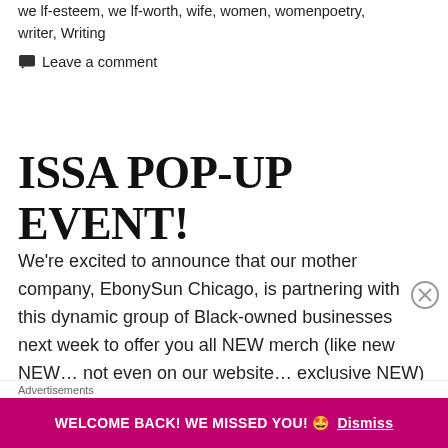we lf-esteem, we lf-worth, wife, women, womenpoetry, writer, Writing
Leave a comment
ISSA POP-UP EVENT!
We're excited to announce that our mother company, EbonySun Chicago, is partnering with this dynamic group of Black-owned businesses next week to offer you all NEW merch (like new NEW... not even on our website... exclusive NEW) and of course, boxes of
Advertisements
WELCOME BACK! WE MISSED YOU! 🤩 Dismiss